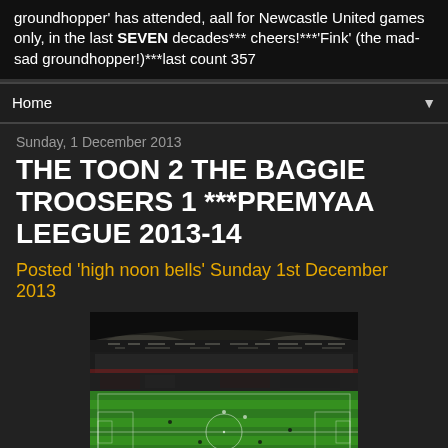groundhopper' has attended, aall for Newcastle United games only, in the last SEVEN decades*** cheers!***'Fink' (the mad-sad groundhopper!)***last count 357
Home
Sunday, 1 December 2013
THE TOON 2 THE BAGGIE TROOSERS 1 ***PREMYAA LEEGUE 2013-14
Posted 'high noon bells' Sunday 1st December 2013
[Figure (photo): Night-time photograph of a football stadium with floodlights illuminating the pitch, taken from an elevated viewpoint showing the green grass and stands filled with spectators.]